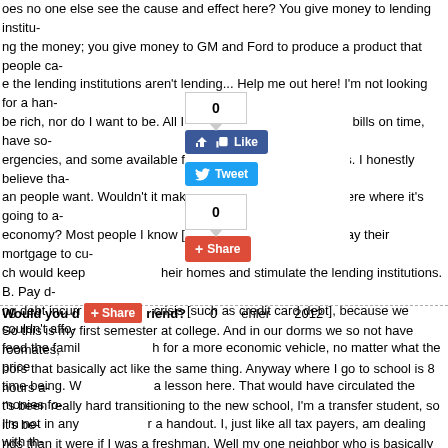oes no one else see the cause and effect here? You give money to lending institu- ng the money; you give money to GM and Ford to produce a product that people ca- e the lending institutions aren't lending... Help me out here! I'm not looking for a han- be rich, nor do I want to be. All I want is to be able to pay my bills on time, have so- ergencies, and some available for other necessary expenses. I honestly believe tha- an people want. Wouldn't it make more sense to put it out there where it's going to a- economy? Most people I know [myself included] would: A. Pay their mortgage to cu- ch would keep [their] homes and stimulate the lending institutions. B. Pay [off] ng debt incurr[ed during] crisis [such as credit card debt], because we couldn't affo- feed the famil[y] [and swit]ch for a more economic vehicle, no matter what the price time being. W[e all learn] a lesson here. That would have circulated the monies fo- I'm not in any [way asking fo]r a handout. I, just like all tax payers, am dealing with t- I can, which is [to cut ou]t the things I do not need. I just wish I could understand can justify the [spending w]hen, in actuality, it isn't going to be effective one way o- dle class feel [confident] enough to start spending.[View Answers]
[Figure (infographic): Social sharing buttons: Like (0), Tweet, Share, and a counter showing 0]
Would you d[escribe to a f]riend?   0   ehler   2012
So this is my first semester at college. And in our dorms we so not have roomates, bors that basically act like the same thing. Anyway where I go to school is 8 hours a- t's been really hard transitioning to the new school, I'm a transfer student, so it's be- nds than it were if I was a freshman. Well my one neighbor who is basically my bes- really helped me through a lot. His name is Matt and he has not only helped me to f- has helped me to make new friends. Him and I do a lot together and one activity we- s hockey. We love watching games together and quite often will order a pizza and c- ntioned months ago that we should go to a game, and he thought it would be a goo- I've been looking into it and got ticket prices and everything. Well when he saw tha- were like $120 each he said he could not afford it. I know it's pricy but I think it's rea- ports game. He's never been to a hockey game before nor any sport for that matte-